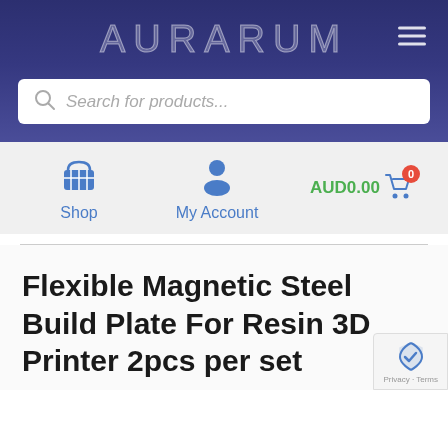AURARUM
[Figure (screenshot): Search bar with placeholder text 'Search for products...']
[Figure (screenshot): Navigation bar with Shop basket icon, My Account person icon, and AUD0.00 cart with badge showing 0]
Flexible Magnetic Steel Build Plate For Resin 3D Printer 2pcs per set